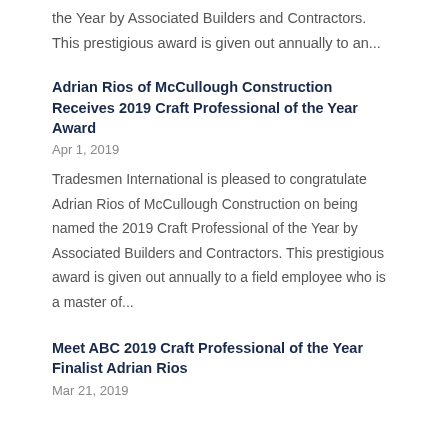the Year by Associated Builders and Contractors.  This prestigious award is given out annually to an...
Adrian Rios of McCullough Construction Receives 2019 Craft Professional of the Year Award
Apr 1, 2019
Tradesmen International is pleased to congratulate Adrian Rios of McCullough Construction on being named the 2019 Craft Professional of the Year by Associated Builders and Contractors. This prestigious award is given out annually to a field employee who is a master of...
Meet ABC 2019 Craft Professional of the Year Finalist Adrian Rios
Mar 21, 2019